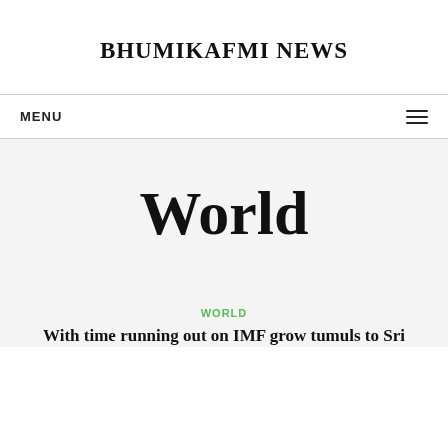BHUMIKAFMI NEWS
MENU
World
WORLD
With time running out on IMF grow tumuls to Sri